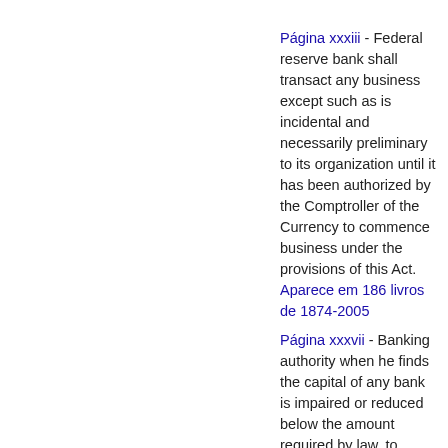Página xxxiii - Federal reserve bank shall transact any business except such as is incidental and necessarily preliminary to its organization until it has been authorized by the Comptroller of the Currency to commence business under the provisions of this Act. Aparece em 186 livros de 1874-2005
Página xxxvii - Banking authority when he finds the capital of any bank is impaired or reduced below the amount required by law, to require such bank to